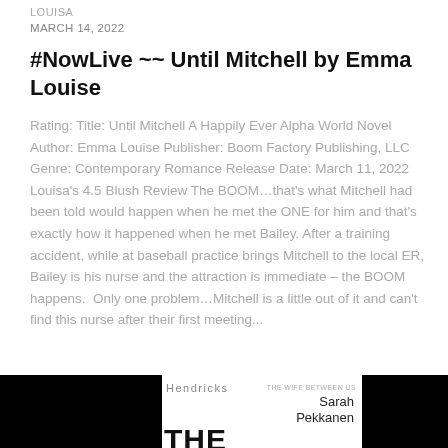LOUISA
MARCH 14, 2022
#NowLive ~~ Until Mitchell by Emma Louise
Rating: Title: Until Mitchell A Happily Ever Alpha World Novel Author: Emma Louise Publisher: Boom Factory Publishing, LLC Genre: Contemporary Romance Release Date: March 11, 2022 Louisa's 4.5 Blush Review The BOOM…that's what Mitchell had been told would happen when he met the ONE for him and that's exactly how it happened when he met Bailey. After a training accident, while at baseball practice brings Mitchell to the local ER, Bailey is his nurse and the attraction is immediate – the BOOM happens.  Only one problem…Mitchell is a little out of it and can't find this nurse after their first meeting...
[Figure (photo): Book cover image showing 'THE GOLDEN' by Greer Hendricks and Sarah Pekkanen, partially visible at the bottom of the page. The cover has a black background with white text.]